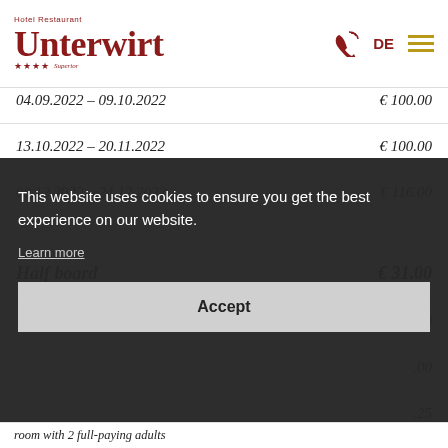Hotel Restaurant Unterwirt ★★★★ Superior — DE
| Date Range | Price |
| --- | --- |
| [partial]..2022 – [partial]..2022 | € [partial] |
| 13.10.2022 – 20.11.2022 | € 100.00 |
| 08.12.2022 – 24.12.2022 | € 116.00 |
| Description | Price |
| --- | --- |
| Half board | € 31.00 |
| [partial row] | .00 |
| [partial row] | .00 |
| [partial row] | .25 |
| [partial row] | .00 |
This website uses cookies to ensure you get the best experience on our website. Learn more
Accept
room with 2 full-paying adults